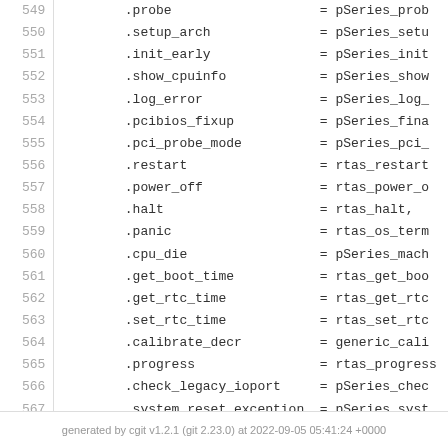[Figure (screenshot): Source code listing showing lines 549-574 of a C source file with line numbers on the left and code on the right. The code shows struct field assignments for a machine operations structure including probe, setup_arch, init_early, show_cpuinfo, log_error, pcibios_fixup, pci_probe_mode, restart, power_off, halt, panic, cpu_die, get_boot_time, get_rtc_time, set_rtc_time, calibrate_decr, progress, check_legacy_ioport, system_reset_exception, machine_check_exception fields, followed by #ifdef CONFIG_KEXEC block with machine_kexec, machine_kexec_prepare, machine_crash_shutdown fields, #endif, and closing brace.]
generated by cgit v1.2.1 (git 2.23.0) at 2022-09-05 05:41:24 +0000